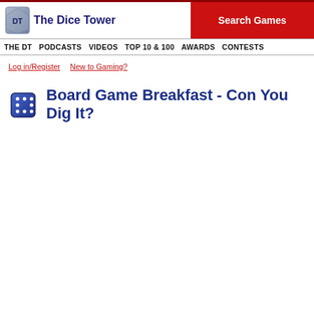The Dice Tower
Search Games
THE DT  PODCASTS  VIDEOS  TOP 10 & 100  AWARDS  CONTESTS
Log in/Register   New to Gaming?
Board Game Breakfast - Con You Dig It?